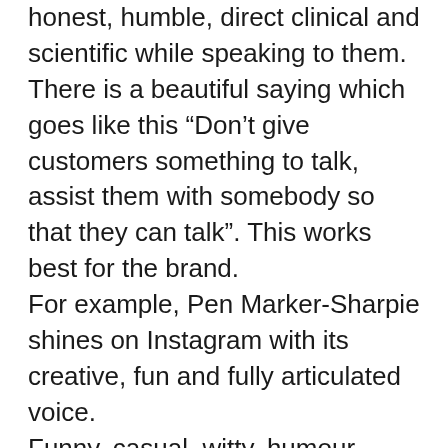honest, humble, direct clinical and scientific while speaking to them. There is a beautiful saying which goes like this “Don’t give customers something to talk, assist them with somebody so that they can talk”. This works best for the brand.
For example, Pen Marker-Sharpie shines on Instagram with its creative, fun and fully articulated voice.
Funny, casual, witty, humour, conversational, personal all goes well with the language you use. But being authentic embodies your brand value. Identify the